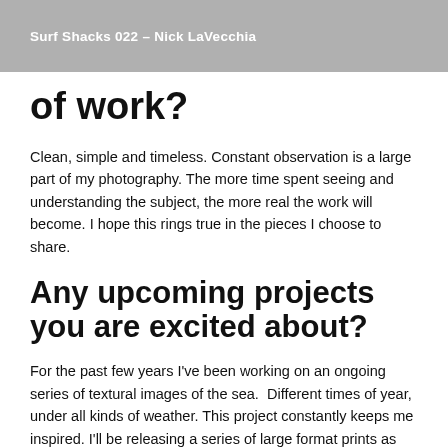Surf Shacks 022 – Nick LaVecchia
of work?
Clean, simple and timeless. Constant observation is a large part of my photography. The more time spent seeing and understanding the subject, the more real the work will become. I hope this rings true in the pieces I choose to share.
Any upcoming projects you are excited about?
For the past few years I've been working on an ongoing series of textural images of the sea.  Different times of year, under all kinds of weather. This project constantly keeps me inspired. I'll be releasing a series of large format prints as well as a